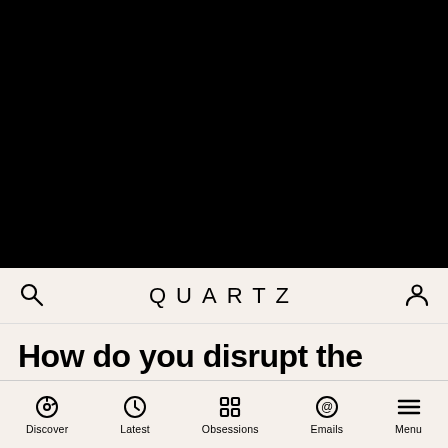[Figure (photo): Large black image occupying the top portion of the page, appears to be a dark/nighttime photo]
QUARTZ
How do you disrupt the finances of an Islamist group whose name means “Western education is
Discover  Latest  Obsessions  Emails  Menu